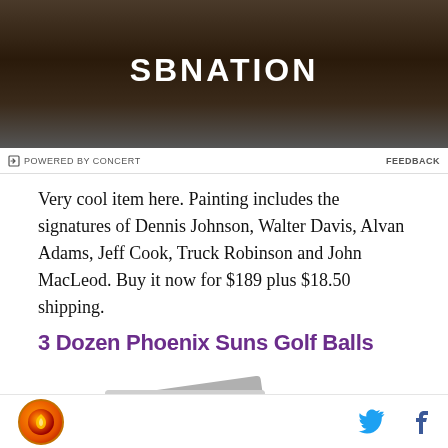[Figure (photo): SBNation advertisement banner showing grilled food on a cast iron grill with 'SBNATION' text overlay]
POWERED BY CONCERT
FEEDBACK
Very cool item here. Painting includes the signatures of Dennis Johnson, Walter Davis, Alvan Adams, Jeff Cook, Truck Robinson and John MacLeod. Buy it now for $189 plus $18.50 shipping.
3 Dozen Phoenix Suns Golf Balls
[Figure (photo): Placeholder image for 3 Dozen Phoenix Suns Golf Balls showing two overlapping grey square placeholder images]
SBNation footer with logo, Twitter and Facebook icons